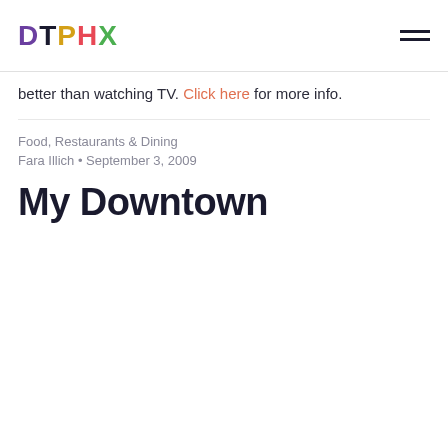DTPHX
better than watching TV. Click here for more info.
Food, Restaurants & Dining
Fara Illich • September 3, 2009
My Downtown